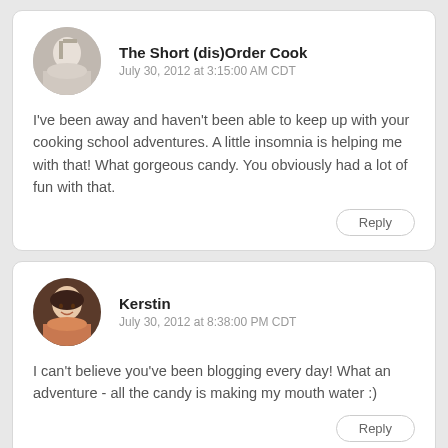The Short (dis)Order Cook
July 30, 2012 at 3:15:00 AM CDT
I've been away and haven't been able to keep up with your cooking school adventures. A little insomnia is helping me with that! What gorgeous candy. You obviously had a lot of fun with that.
Reply
Kerstin
July 30, 2012 at 8:38:00 PM CDT
I can't believe you've been blogging every day! What an adventure - all the candy is making my mouth water :)
Reply